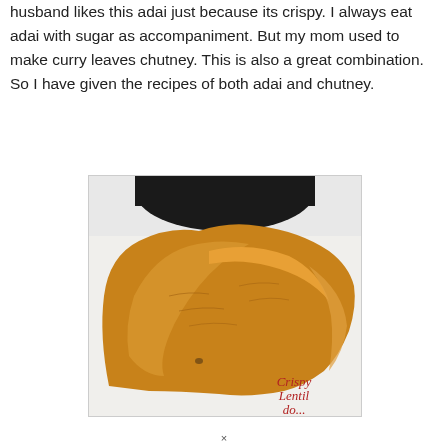husband likes this adai just because its crispy. I always eat adai with sugar as accompaniment. But my mom used to make curry leaves chutney. This is also a great combination. So I have given the recipes of both adai and chutney.
[Figure (photo): A close-up photograph of a crispy lentil adai (Indian pancake/crepe) placed on a white surface. The adai appears golden-brown and crispy with an irregular edge. A dark pan is partially visible in the upper portion of the image. The text 'Crispy Lentil' appears in red italic font in the lower right corner of the photo.]
×